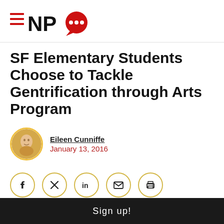NPQ
SF Elementary Students Choose to Tackle Gentrification through Arts Program
Eileen Cunniffe
January 13, 2016
[Figure (infographic): Social share buttons: Facebook, Twitter, LinkedIn, Email, Print]
Sign up!